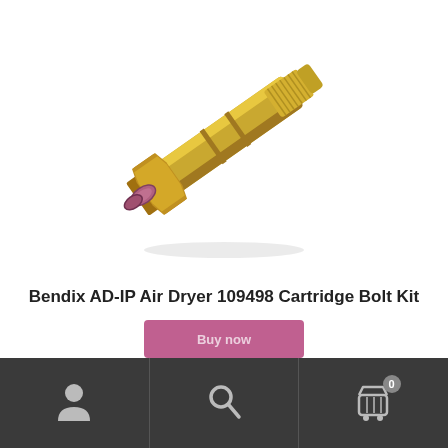[Figure (photo): A gold/brass colored Bendix AD-IP Air Dryer 109498 Cartridge Bolt Kit — a cylindrical threaded bolt with a flange and retaining clips at the base, photographed diagonally on a white background.]
Bendix AD-IP Air Dryer 109498 Cartridge Bolt Kit
[Figure (screenshot): Bottom navigation bar on a mobile app/website with dark background showing three icons: a user/account icon on the left, a search magnifying glass icon in the center, and a shopping cart icon with badge showing 0 on the right.]